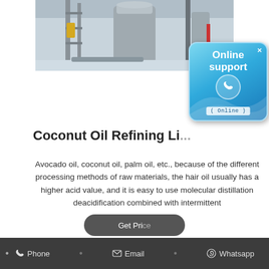[Figure (photo): Industrial oil refining equipment — large stainless steel tanks, pipes, and processing machinery inside a factory floor with a light blue/gray background.]
[Figure (infographic): Online support badge — rounded square button with blue gradient background, phone icon in circle, text 'Online support' and '( Online )' label, close X in top right corner.]
Coconut Oil Refining Li...
Avocado oil, coconut oil, palm oil, etc., because of the different processing methods of raw materials, the hair oil usually has a higher acid value, and it is easy to use molecular distillation deacidification combined with intermittent
[Figure (other): Partially visible 'Get Price' button with dark rounded rectangle style.]
• Phone • Email • Whatsapp